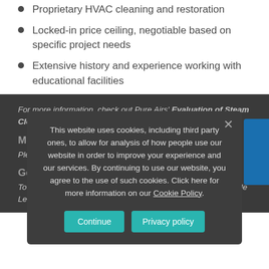Proprietary HVAC cleaning and restoration
Locked-in price ceiling, negotiable based on specific project needs
Extensive history and experience working with educational facilities
For more information, check out Pure Airs' Evaluation of Steam Cleaning in... and Energy Conservation b...
More Information
Please contact y... ive or David Manz, Business... nes.
Getting Started
To sign up for our Pure Air contract, please complete this simple Letter of Participation...
This website uses cookies, including third party ones, to allow for analysis of how people use our website in order to improve your experience and our services. By continuing to use our website, you agree to the use of such cookies. Click here for more information on our Cookie Policy.